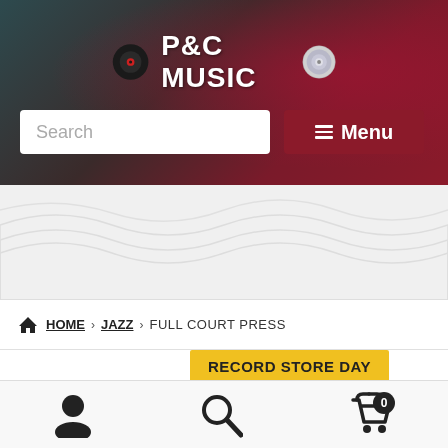[Figure (screenshot): P&C Music website header with vinyl record logo, CD icon, brand name, search box and menu button on dark teal/red gradient background]
Search
Menu
[Figure (illustration): Wave/topographic pattern decorative section in light gray]
HOME › JAZZ › FULL COURT PRESS
RECORD STORE DAY
CALVIN
[Figure (photo): Record Store Day logo on black background, circular orange badge with flame icon]